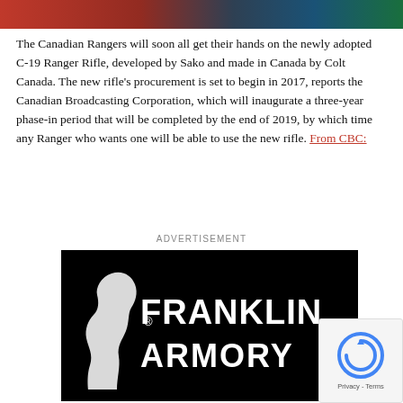[Figure (photo): Partial photo strip at top of page showing people in red jackets and dark clothing against a green background]
The Canadian Rangers will soon all get their hands on the newly adopted C-19 Ranger Rifle, developed by Sako and made in Canada by Colt Canada. The new rifle's procurement is set to begin in 2017, reports the Canadian Broadcasting Corporation, which will inaugurate a three-year phase-in period that will be completed by the end of 2019, by which time any Ranger who wants one will be able to use the new rifle. From CBC:
ADVERTISEMENT
[Figure (logo): Franklin Armory logo — black background with white silhouette of a head (Benjamin Franklin profile) on the left, and text FRANKLIN ARMORY in white bold letters on the right]
[Figure (other): reCAPTCHA privacy badge in bottom right corner showing spinning arrows icon and Privacy - Terms text]